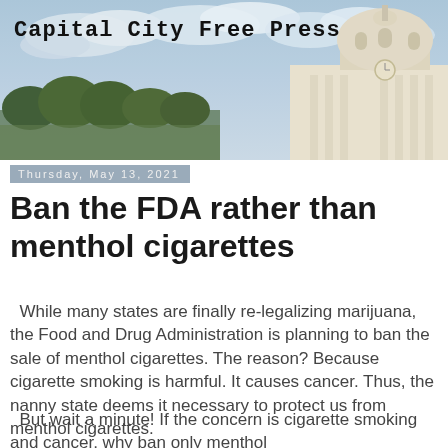[Figure (photo): Capital City Free Press newspaper banner header showing a state capitol building dome on the right and trees on the left against a cloudy blue sky background. The newspaper title 'Capital City Free Press' is displayed in bold monospace font at the top left.]
Thursday, May 13, 2021
Ban the FDA rather than menthol cigarettes
While many states are finally re-legalizing marijuana, the Food and Drug Administration is planning to ban the sale of menthol cigarettes. The reason? Because cigarette smoking is harmful. It causes cancer. Thus, the nanny state deems it necessary to protect us from menthol cigarettes.
But wait a minute! If the concern is cigarette smoking and cancer, why ban only menthol